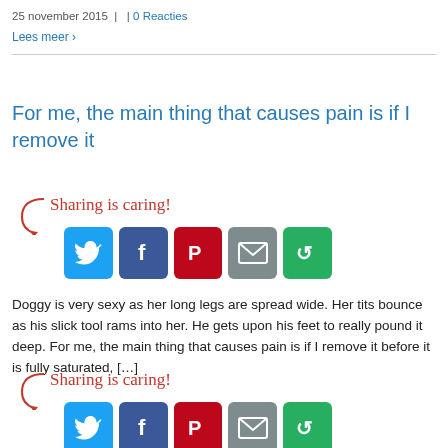25 november 2015  |   | 0 Reacties
Lees meer >
For me, the main thing that causes pain is if I remove it
[Figure (infographic): Sharing is caring! social share buttons: Twitter, Facebook, Pinterest, Email, More (green)]
Doggy is very sexy as her long legs are spread wide. Her tits bounce as his slick tool rams into her. He gets upon his feet to really pound it deep. For me, the main thing that causes pain is if I remove it before it is fully saturated, […]
[Figure (infographic): Sharing is caring! social share buttons (partial view): Twitter, Facebook, Pinterest, Email, More (green)]